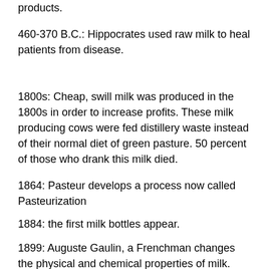products.
460-370 B.C.: Hippocrates used raw milk to heal patients from disease.
1800s: Cheap, swill milk was produced in the 1800s in order to increase profits. These milk producing cows were fed distillery waste instead of their normal diet of green pasture. 50 percent of those who drank this milk died.
1864: Pasteur develops a process now called Pasteurization
1884: the first milk bottles appear.
1899: Auguste Gaulin, a Frenchman changes the physical and chemical properties of milk. Gaulin's inventged an emulsifying or 'homogenizing' machine, that broke milk's